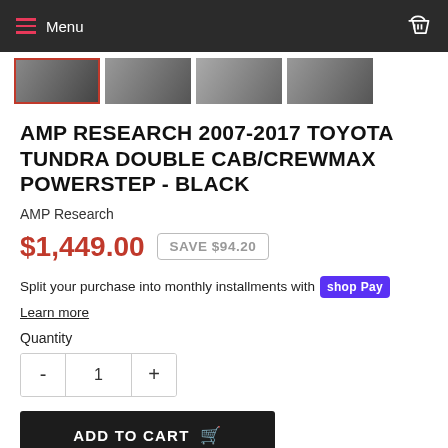Menu
[Figure (photo): Four product thumbnail images of AMP Research PowerStep in a horizontal row]
AMP RESEARCH 2007-2017 TOYOTA TUNDRA DOUBLE CAB/CREWMAX POWERSTEP - BLACK
AMP Research
$1,449.00  SAVE $94.20
Split your purchase into monthly installments with shop Pay
Learn more
Quantity
- 1 +
ADD TO CART